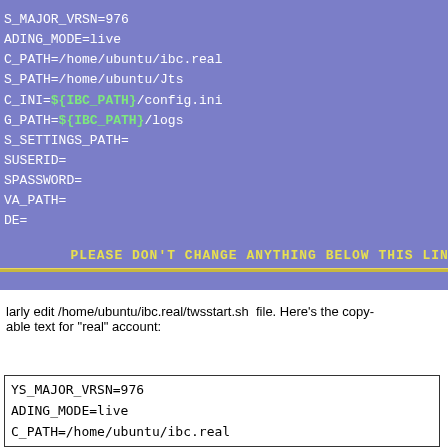[Figure (screenshot): Terminal/config file screenshot on blue-purple background showing shell script variables. Lines include: S_MAJOR_VRSN=976, ADING_MODE=live, C_PATH=/home/ubuntu/ibc.real, S_PATH=/home/ubuntu/Jts, C_INI=${IBC_PATH}/config.ini (with ${IBC_PATH} highlighted green), G_PATH=${IBC_PATH}/logs (with ${IBC_PATH} highlighted green), S_SETTINGS_PATH=, SUSERID=, SPASSWORD=, VA_PATH=, DE=. Then a yellow warning: PLEASE DON'T CHANGE ANYTHING BELOW THIS LINE ! followed by a yellow separator line.]
larly edit /home/ubuntu/ibc.real/twsstart.sh  file. Here's the copy-able text for "real" account:
[Figure (screenshot): Code box showing beginning of shell script variables: YS_MAJOR_VRSN=976, ADING_MODE=live, C_PATH=/home/ubuntu/ibc.real]